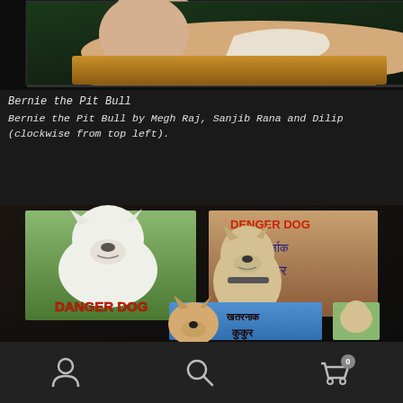[Figure (photo): Photo of a pit bull dog painting on dark background, with a small thumbnail image at top right]
Bernie the Pit Bull
Bernie the Pit Bull by Megh Raj, Sanjib Rana and Dilip (clockwise from top left).
[Figure (photo): Three hand-painted dog sign/tile images showing dogs labeled 'DANGER DOG' in English and Nepali script (खतरनाक कुकुर / DENGER DOG), arranged on a dark wood surface]
Navigation bar with person icon, search icon, and cart icon (with 0 badge)